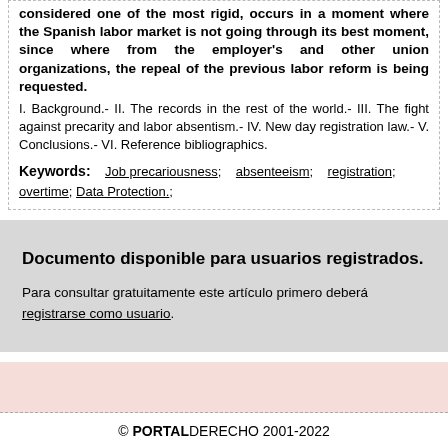considered one of the most rigid, occurs in a moment where the Spanish labor market is not going through its best moment, since where from the employer's and other union organizations, the repeal of the previous labor reform is being requested.
I. Background.- II. The records in the rest of the world.- III. The fight against precarity and labor absentism.- IV. New day registration law.- V. Conclusions.- VI. Reference bibliographics.
Keywords: Job precariousness; absenteeism; registration; overtime; Data Protection;
Documento disponible para usuarios registrados.
Para consultar gratuitamente este artículo primero deberá registrarse como usuario.
© PORTALDERECHO 2001-2022